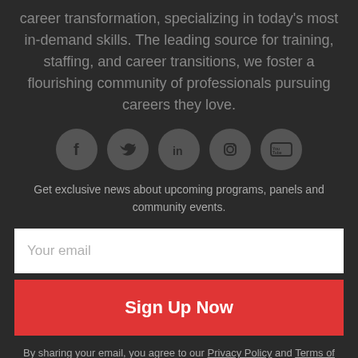career transformation, specializing in today's most in-demand skills. The leading source for training, staffing, and career transitions, we foster a flourishing community of professionals pursuing careers they love.
[Figure (illustration): Five social media icon circles in a row: Facebook (f), Twitter (bird), LinkedIn (in), Instagram (camera), YouTube (You Tube logo)]
Get exclusive news about upcoming programs, panels and community events.
Your email
Sign Up Now
By sharing your email, you agree to our Privacy Policy and Terms of Service